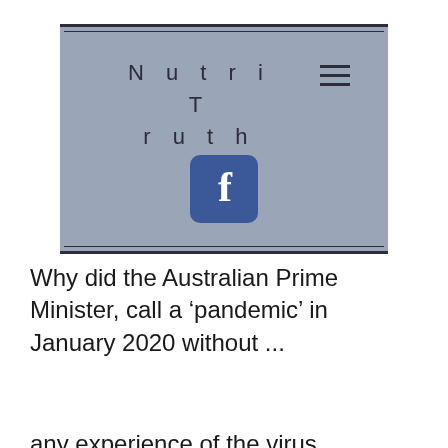[Figure (logo): NutriTruth website header with logo text and Facebook icon on a steel blue background with dark border lines and hamburger menu icon]
Why did the Australian Prime Minister, call a ‘pandemic’ in January 2020 without ...
any experience of the virus